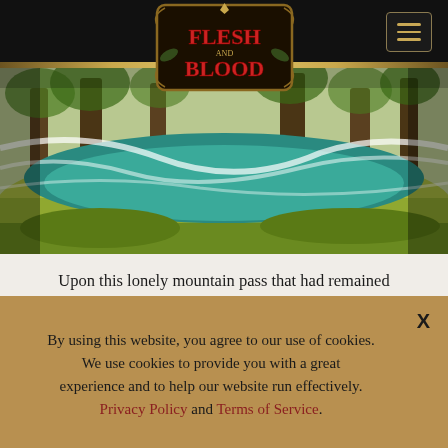[Figure (logo): Flesh and Blood trading card game logo with ornate gold frame on dark background]
[Figure (illustration): Fantasy landscape illustration showing a forest scene with green tones, teal water, and flowing white energy streams]
Upon this lonely mountain pass that had remained unchanged for eons; a faint shuffle and a crack was heard, and then the scraping of metal on ice, as a mighty mountain of a man stirred from within his frozen slumber.
His nightmares had kept him company throughout the Ages
By using this website, you agree to our use of cookies. We use cookies to provide you with a great experience and to help our website run effectively. Privacy Policy and Terms of Service.